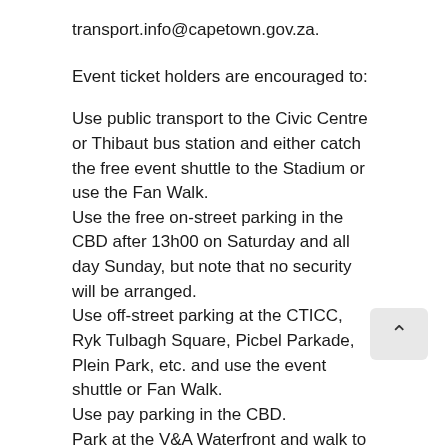transport.info@capetown.gov.za.
Event ticket holders are encouraged to:
Use public transport to the Civic Centre or Thibaut bus station and either catch the free event shuttle to the Stadium or use the Fan Walk.
Use the free on-street parking in the CBD after 13h00 on Saturday and all day Sunday, but note that no security will be arranged.
Use off-street parking at the CTICC, Ryk Tulbagh Square, Picbel Parkade, Plein Park, etc. and use the event shuttle or Fan Walk.
Use pay parking in the CBD.
Park at the V&A Waterfront and walk to the Stadium.
Metrorail Services:
Metrorail services to and from Cape Town will run as normal and passengers will be required to be in possession of a valid